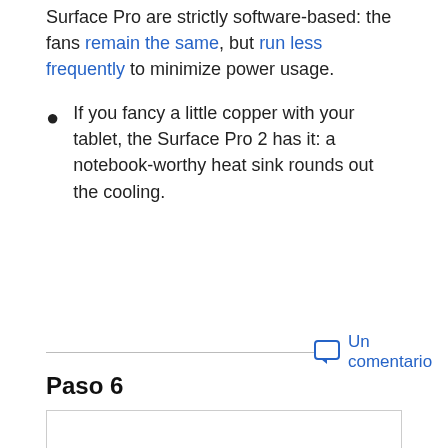Changes to the cooling methods from the original Surface Pro are strictly software-based: the fans remain the same, but run less frequently to minimize power usage.
If you fancy a little copper with your tablet, the Surface Pro 2 has it: a notebook-worthy heat sink rounds out the cooling.
Un comentario
Paso 6
[Figure (other): Empty bordered rectangle representing an image placeholder for Paso 6]